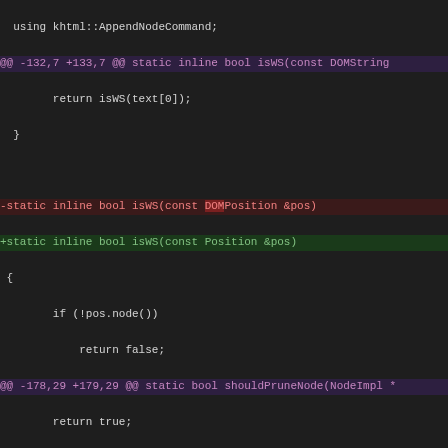[Figure (screenshot): Code diff screenshot showing changes from DOMPosition to Position in C++ source code, with syntax highlighting. Lines prefixed with - shown in red/removed, lines with + shown in green/added, and @@ hunk headers in magenta.]